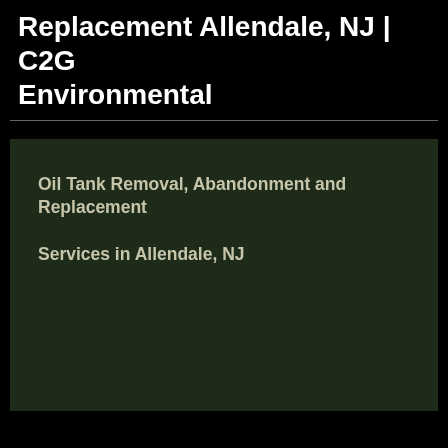Replacement Allendale, NJ | C2G Environmental
Oil Tank Removal, Abandonment and Replacement Services in Allendale, NJ